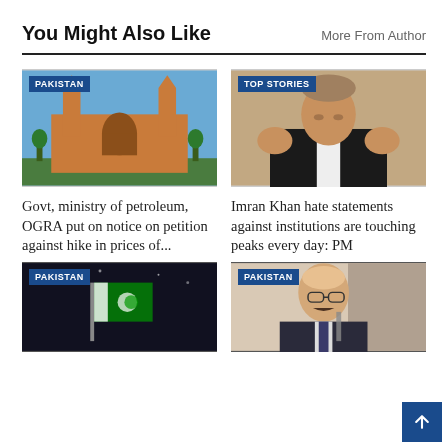You Might Also Like
More From Author
[Figure (photo): Photo of Lahore High Court building with PAKISTAN tag]
Govt, ministry of petroleum, OGRA put on notice on petition against hike in prices of...
[Figure (photo): Photo of PM Shehbaz Sharif with hands raised, TOP STORIES tag]
Imran Khan hate statements against institutions are touching peaks every day: PM
[Figure (photo): Photo of Pakistan flag at night with PAKISTAN tag]
[Figure (photo): Photo of a man in suit with PAKISTAN tag]